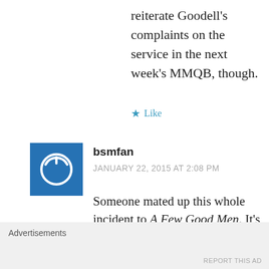reiterate Goodell's complaints on the service in the next week's MMQB, though.
Like
bsmfan
JANUARY 22, 2015 AT 2:08 PM
Someone mated up this whole incident to A Few Good Men. It's funny:
[Figure (other): Embedded content box with close button]
Advertisements
REPORT THIS AD